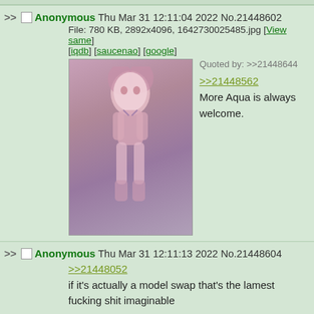Anonymous Thu Mar 31 12:11:04 2022 No.21448602 File: 780 KB, 2892x4096, 1642730025485.jpg [View same] [iqdb] [saucenao] [google] Quoted by: >>21448644 >>21448562 More Aqua is always welcome.
[Figure (illustration): Anime girl in bikini, pink/purple hair]
Anonymous Thu Mar 31 12:11:13 2022 No.21448604 >>21448052 if it's actually a model swap that's the lamest fucking shit imaginable
Anonymous Thu Mar 31 12:11:14 2022 No.21448605 >>21448591 us
Anonymous Thu Mar 31 12:11:36 2022 No.21448614 Quoted by: >>21448641 >>21448643 >>21448648 >>21448651 >>21448667